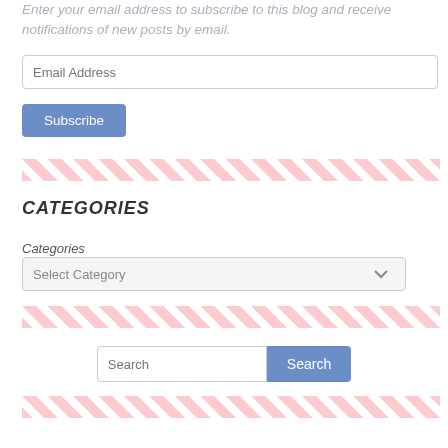Enter your email address to subscribe to this blog and receive notifications of new posts by email.
[Figure (other): Email Address input field]
[Figure (other): Subscribe button]
[Figure (other): Diagonal pink stripe divider]
CATEGORIES
Categories
[Figure (other): Select Category dropdown]
[Figure (other): Diagonal pink stripe divider]
[Figure (other): Search input and Search button]
[Figure (other): Diagonal pink stripe divider]